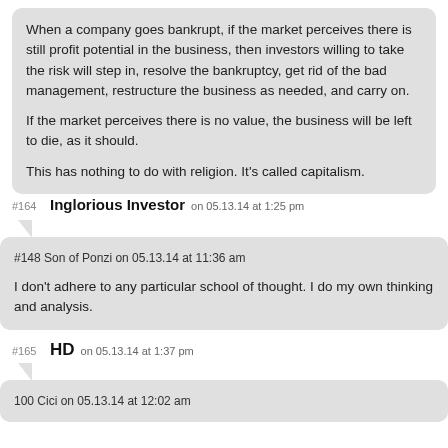When a company goes bankrupt, if the market perceives there is still profit potential in the business, then investors willing to take the risk will step in, resolve the bankruptcy, get rid of the bad management, restructure the business as needed, and carry on.

If the market perceives there is no value, the business will be left to die, as it should.

This has nothing to do with religion. It's called capitalism.
#164 Inglorious Investor on 05.13.14 at 1:25 pm
#148 Son of Ponzi on 05.13.14 at 11:36 am

I don't adhere to any particular school of thought. I do my own thinking and analysis.
#165 HD on 05.13.14 at 1:37 pm
100 Cici on 05.13.14 at 12:02 am